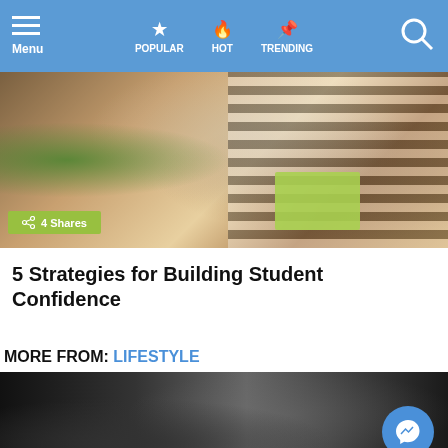Menu | POPULAR | HOT | TRENDING
[Figure (photo): Students studying at a table, one wearing a striped shirt, with notebooks and green folder visible. A share badge overlay reads '4 Shares'.]
5 Strategies for Building Student Confidence
MORE FROM: LIFESTYLE
[Figure (photo): Black and white photo of a motorcyclist riding through an alley or tunnel.]
6 SHARE THIS